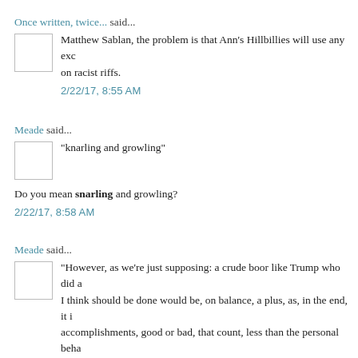Once written, twice... said...
Matthew Sablan, the problem is that Ann's Hillbillies will use any exc on racist riffs.
2/22/17, 8:55 AM
Meade said...
"knarling and growling"
Do you mean snarling and growling?
2/22/17, 8:58 AM
Meade said...
"However, as we're just supposing: a crude boor like Trump who did a I think should be done would be, on balance, a plus, as, in the end, it i accomplishments, good or bad, that count, less than the personal beha bad."
Robert, I'm thinking you might be The Last Honest Leftie.